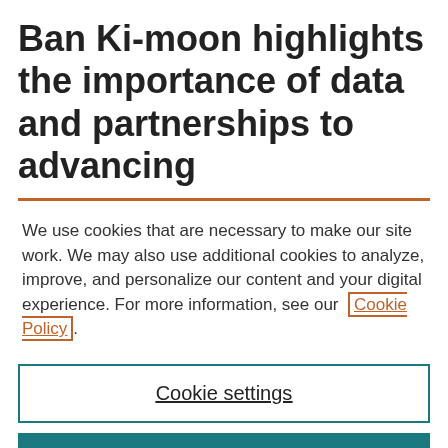Ban Ki-moon highlights the importance of data and partnerships to advancing
We use cookies that are necessary to make our site work. We may also use additional cookies to analyze, improve, and personalize our content and your digital experience. For more information, see our Cookie Policy.
Cookie settings
Accept all cookies